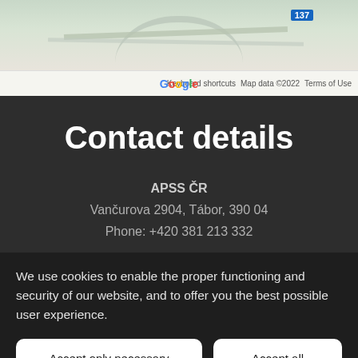[Figure (map): Google Maps screenshot showing a road map area with route 137 badge visible. Bottom bar shows Google logo, Keyboard shortcuts, Map data ©2022, Terms of Use.]
Contact details
APSS ČR
Vančurova 2904, Tábor, 390 04
Phone: +420 381 213 332
We use cookies to enable the proper functioning and security of our website, and to offer you the best possible user experience.
Accept only necessary
Accept all